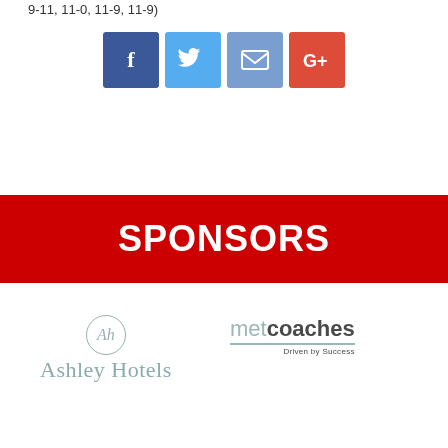9-11, 11-0, 11-9, 11-9)
[Figure (infographic): Four social media share buttons: Facebook (blue), Twitter (light blue), Email (blue-grey), Google+ (red)]
SPONSORS
[Figure (logo): Ashley Hotels logo with circular AH monogram and serif text]
[Figure (logo): Met Coaches logo with tagline Driven by Success]